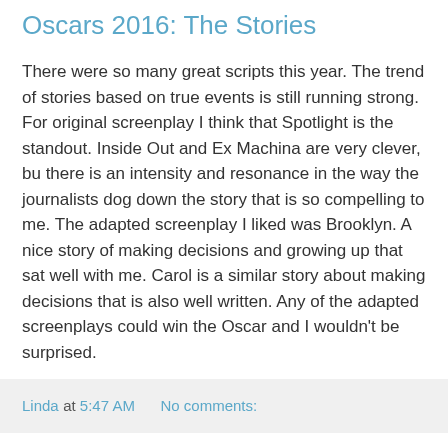Oscars 2016: The Stories
There were so many great scripts this year. The trend of stories based on true events is still running strong. For original screenplay I think that Spotlight is the standout. Inside Out and Ex Machina are very clever, bu there is an intensity and resonance in the way the journalists dog down the story that is so compelling to me. The adapted screenplay I liked was Brooklyn. A nice story of making decisions and growing up that sat well with me. Carol is a similar story about making decisions that is also well written. Any of the adapted screenplays could win the Oscar and I wouldn't be surprised.
Linda at 5:47 AM    No comments:
Tuesday, February 23, 2016
Oscars 2016: The Sounds
Music sets tone and the emotional path in a film. Several